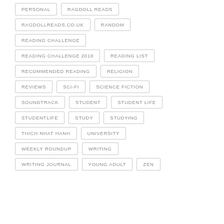PERSONAL
RAGDOLL READS
RAGDOLLREADS.CO.UK
RANDOM
READING CHALLENGE
READING CHALLENGE 2018
READING LIST
RECOMMENDED READING
RELIGION
REVIEWS
SCI-FI
SCIENCE FICTION
SOUNDTRACK
STUDENT
STUDENT LIFE
STUDENTLIFE
STUDY
STUDYING
THICH NHAT HANH
UNIVERSITY
WEEKLY ROUNDUP
WRITING
WRITING JOURNAL
YOUNG ADULT
ZEN